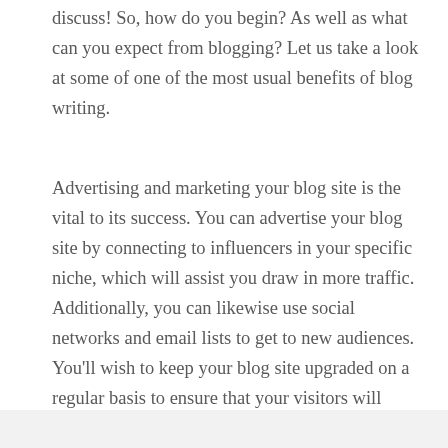discuss! So, how do you begin? As well as what can you expect from blogging? Let us take a look at some of one of the most usual benefits of blog writing.
Advertising and marketing your blog site is the vital to its success. You can advertise your blog site by connecting to influencers in your specific niche, which will assist you draw in more traffic. Additionally, you can likewise use social networks and email lists to get to new audiences. You'll wish to keep your blog site upgraded on a regular basis to ensure that your visitors will certainly want it. Along with that, you'll additionally need to advertise your blog to present clients as well as possible customers.